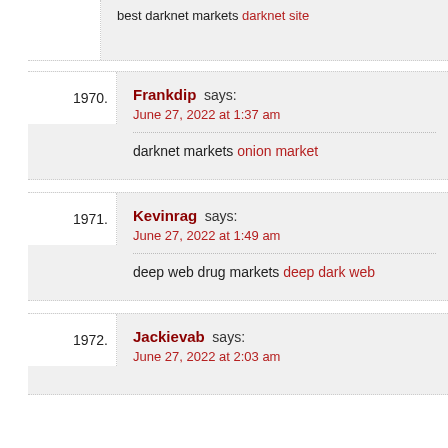best darknet markets darknet site
1970. Frankdip says: June 27, 2022 at 1:37 am — darknet markets onion market
1971. Kevinrag says: June 27, 2022 at 1:49 am — deep web drug markets deep dark web
1972. Jackievab says: June 27, 2022 at 2:03 am